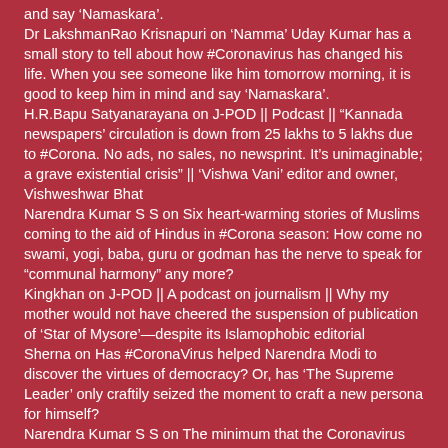and say 'Namaskara'.
Dr LakshmanRao Krisnapuri on 'Namma' Uday Kumar has a small story to tell about how #Coronavirus has changed his life. When you see someone like him tomorrow morning, it is good to keep him in mind and say 'Namaskara'.
H.R.Bapu Satyanarayana on J-POD || Podcast || "Kannada newspapers' circulation is down from 25 lakhs to 5 lakhs due to #Corona. No ads, no sales, no newsprint. It's unimaginable; a grave existential crisis" || 'Vishwa Vani' editor and owner, Vishweshwar Bhat
Narendra Kumar S S on Six heart-warming stories of Muslims coming to the aid of Hindus in #Corona season: How come no swami, yogi, baba, guru or godman has the nerve to speak for "communal harmony" any more?
Kingkhan on J-POD || A podcast on journalism || Why my mother would not have cheered the suspension of publication of 'Star of Mysore'—despite its Islamophobic editorial
Sherna on Has #CoronaVirus helped Narendra Modi to discover the virtues of democracy? Or, has 'The Supreme Leader' only craftily seized the moment to craft a new persona for himself?
Narendra Kumar S S on The minimum that the Coronavirus should...